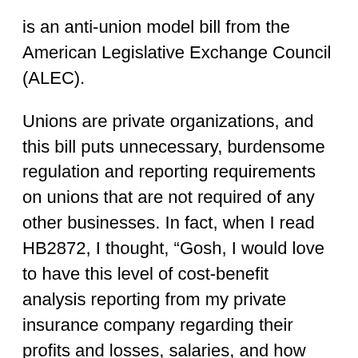is an anti-union model bill from the American Legislative Exchange Council (ALEC).
Unions are private organizations, and this bill puts unnecessary, burdensome regulation and reporting requirements on unions that are not required of any other businesses. In fact, when I read HB2872, I thought, “Gosh, I would love to have this level of cost-benefit analysis reporting from my private insurance company regarding their profits and losses, salaries, and how much they actually spend on my care, compared to how much I pay.” But they aren’t required to do that.
HB2872 is national, model legislation that is duplicative and unnecessary because the reporting is already required by the federal government, and it is published online– for everyone to see. So, why is this bill necessary?